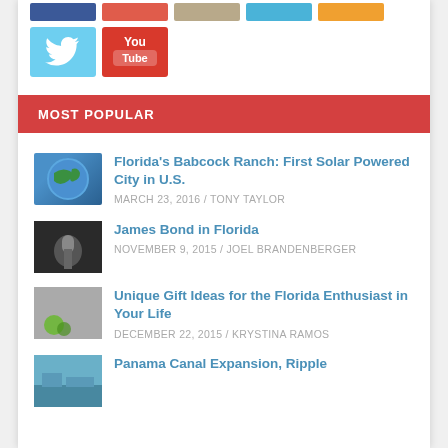[Figure (other): Row of social media icon buttons: Facebook (blue), Pinterest (red), tan/beige, Twitter (cyan), orange]
[Figure (other): Two large social media icons: Twitter (light blue with bird icon) and YouTube (red with YouTube logo)]
MOST POPULAR
Florida's Babcock Ranch: First Solar Powered City in U.S. — MARCH 23, 2016 / TONY TAYLOR
James Bond in Florida — NOVEMBER 9, 2015 / JOEL BRANDENBERGER
Unique Gift Ideas for the Florida Enthusiast in Your Life — DECEMBER 22, 2015 / KRYSTINA RAMOS
Panama Canal Expansion, Ripple (truncated)